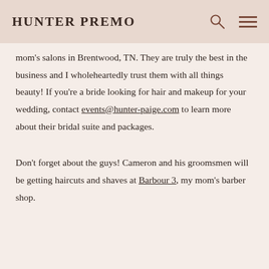HUNTER PREMO
mom's salons in Brentwood, TN. They are truly the best in the business and I wholeheartedly trust them with all things beauty! If you're a bride looking for hair and makeup for your wedding, contact events@hunter-paige.com to learn more about their bridal suite and packages.
Don't forget about the guys! Cameron and his groomsmen will be getting haircuts and shaves at Barbour 3, my mom's barber shop.